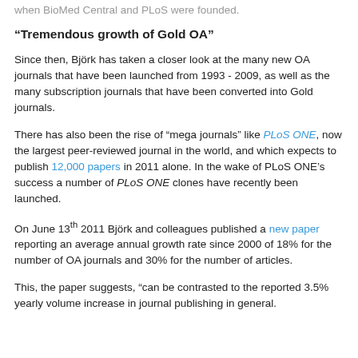when BioMed Central and PLoS were founded.
“Tremendous growth of Gold OA”
Since then, Björk has taken a closer look at the many new OA journals that have been launched from 1993 - 2009, as well as the many subscription journals that have been converted into Gold journals.
There has also been the rise of “mega journals” like PLoS ONE, now the largest peer-reviewed journal in the world, and which expects to publish 12,000 papers in 2011 alone. In the wake of PLoS ONE’s success a number of PLoS ONE clones have recently been launched.
On June 13th 2011 Björk and colleagues published a new paper reporting an average annual growth rate since 2000 of 18% for the number of OA journals and 30% for the number of articles.
This, the paper suggests, “can be contrasted to the reported 3.5% yearly volume increase in journal publishing in general. In 2009 about four tenths of the 191,000 articles...